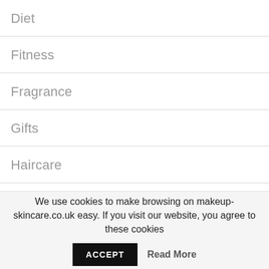Diet
Fitness
Fragrance
Gifts
Haircare
Haircare Products
We use cookies to make browsing on makeup-skincare.co.uk easy. If you visit our website, you agree to these cookies
ACCEPT   Read More